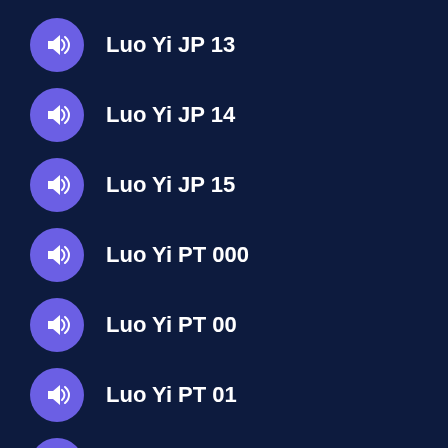Luo Yi JP 13
Luo Yi JP 14
Luo Yi JP 15
Luo Yi PT 000
Luo Yi PT 00
Luo Yi PT 01
Luo Yi PT 02
(partial)